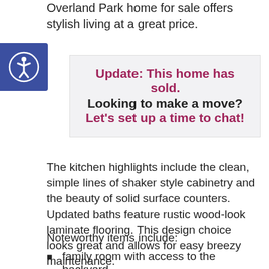Overland Park home for sale offers stylish living at a great price.
Update: This home has sold. Looking to make a move? Let's set up a time to chat!
The kitchen highlights include the clean, simple lines of shaker style cabinetry and the beauty of solid surface counters. Updated baths feature rustic wood-look laminate flooring. This design choice looks great and allows for easy breezy maintenance.
Noteworthy items include:
family room with access to the backyard